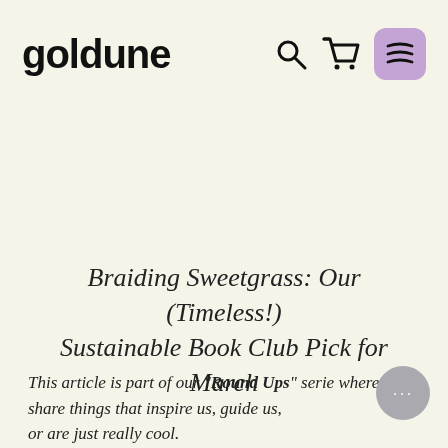goldune
Braiding Sweetgrass: Our (Timeless!) Sustainable Book Club Pick for March
This article is part of our "Round Ups" series where we share things that inspire us, guide us, or are just really cool.